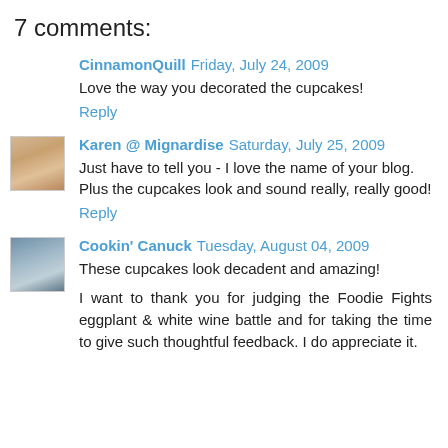7 comments:
CinnamonQuill Friday, July 24, 2009
Love the way you decorated the cupcakes!
Reply
Karen @ Mignardise Saturday, July 25, 2009
Just have to tell you - I love the name of your blog. Plus the cupcakes look and sound really, really good!
Reply
Cookin' Canuck Tuesday, August 04, 2009
These cupcakes look decadent and amazing!

I want to thank you for judging the Foodie Fights eggplant & white wine battle and for taking the time to give such thoughtful feedback. I do appreciate it.